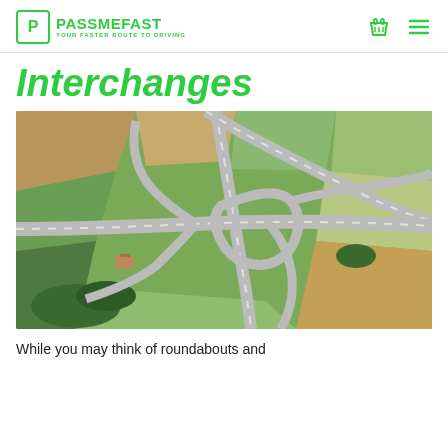PASS ME FAST — YOUR FASTER ROUTE TO DRIVING
Interchanges
[Figure (photo): Aerial/satellite view of a motorway interchange showing multiple roads and slip roads intersecting, surrounded by green fields and farmland.]
While you may think of roundabouts and